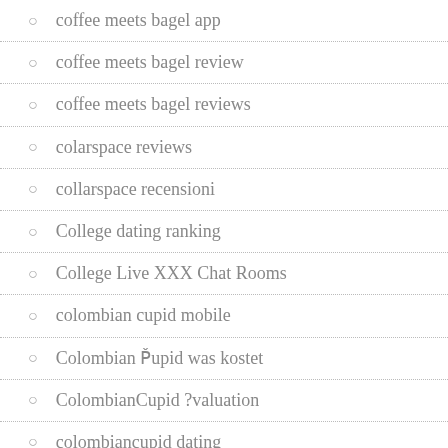coffee meets bagel app
coffee meets bagel review
coffee meets bagel reviews
colarspace reviews
collarspace recensioni
College dating ranking
College Live XXX Chat Rooms
colombian cupid mobile
Colombian P̌upid was kostet
ColombianCupid ?valuation
colombiancupid dating
ColombianCupid review